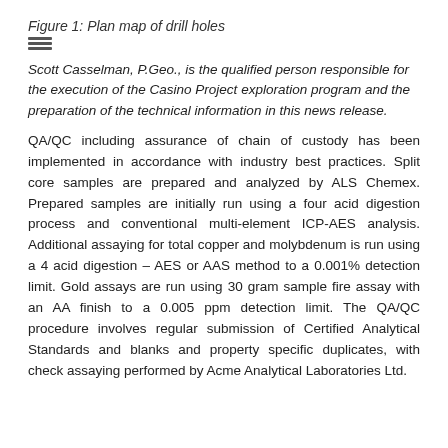Figure 1: Plan map of drill holes
Scott Casselman, P.Geo., is the qualified person responsible for the execution of the Casino Project exploration program and the preparation of the technical information in this news release.
QA/QC including assurance of chain of custody has been implemented in accordance with industry best practices. Split core samples are prepared and analyzed by ALS Chemex. Prepared samples are initially run using a four acid digestion process and conventional multi-element ICP-AES analysis. Additional assaying for total copper and molybdenum is run using a 4 acid digestion – AES or AAS method to a 0.001% detection limit. Gold assays are run using 30 gram sample fire assay with an AA finish to a 0.005 ppm detection limit. The QA/QC procedure involves regular submission of Certified Analytical Standards and blanks and property specific duplicates, with check assaying performed by Acme Analytical Laboratories Ltd.